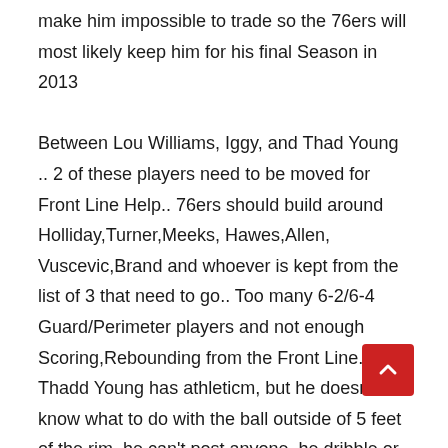make him impossible to trade so the 76ers will most likely keep him for his final Season in 2013 Between Lou Williams, Iggy, and Thad Young .. 2 of these players need to be moved for Front Line Help.. 76ers should build around Holliday,Turner,Meeks, Hawes,Allen, Vuscevic,Brand and whoever is kept from the list of 3 that need to go.. Too many 6-2/6-4 Guard/Perimeter players and not enough Scoring,Rebounding from the Front Line.. Thadd Young has athleticm, but he doesn't know what to do with the ball outside of 5 feet of the rim, he can't post anyone, he dribble or create, and can't shoot the intermediate jumper or make his Free-Throw attempts so every Team knows to simply foul him and after 4 Years in the NBA, uit's unlikley he will improve in these critical areas..TY is not a scoreer or shooter enough to pl #3 and he's not big enough to post and defend from the #4 Spot, there's no place for him in my opinion at all